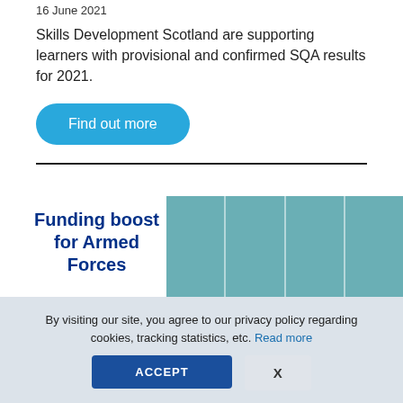16 June 2021
Skills Development Scotland are supporting learners with provisional and confirmed SQA results for 2021.
Find out more
Funding boost for Armed Forces
[Figure (illustration): Teal/green image divided into four columns with an Armed Forces colourful logo badge at the bottom centre]
By visiting our site, you agree to our privacy policy regarding cookies, tracking statistics, etc. Read more
ACCEPT
X